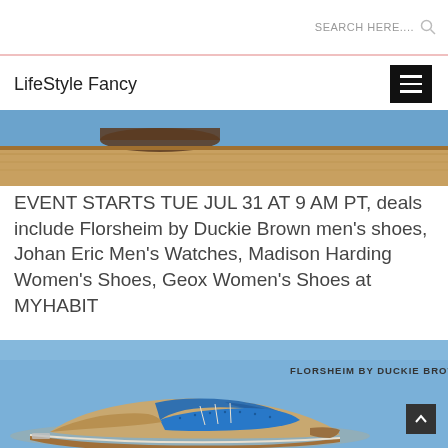SEARCH HERE....
LifeStyle Fancy
[Figure (photo): Close-up of a wooden shelf or platform with a dark cylindrical object on a blue background]
EVENT STARTS TUE JUL 31 AT 9 AM PT, deals include Florsheim by Duckie Brown men’s shoes, Johan Eric Men’s Watches, Madison Harding Women’s Shoes, Geox Women’s Shoes at MYHABIT
[Figure (photo): A two-tone saddle shoe (tan suede with blue leather accents and brown sole) on a blue background with text FLORSHEIM BY DUCKIE BROWN]